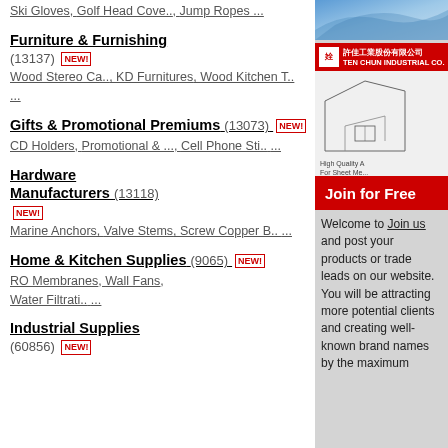Ski Gloves, Golf Head Cove.., Jump Ropes ...
Furniture & Furnishing (13137) NEW! Wood Stereo Ca.., KD Furnitures, Wood Kitchen T.. ...
Gifts & Promotional Premiums (13073) NEW! CD Holders, Promotional & ..., Cell Phone Sti.. ...
Hardware Manufacturers (13118) NEW! Marine Anchors, Valve Stems, Screw Copper B.. ...
Home & Kitchen Supplies (9065) NEW! RO Membranes, Wall Fans, Water Filtrati.. ...
Industrial Supplies (60856) NEW!
[Figure (illustration): Blue gradient decorative banner image at top right]
[Figure (logo): Red logo bar with white shield icon and company name TEN CHUN INDUSTRIAL CO.]
[Figure (illustration): Engineering/sheet metal machinery diagram in grayscale with text High Quality... For Sheet Me...]
Join for Free
Welcome to Join us and post your products or trade leads on our website. You will be attracting more potential clients and creating well-known brand names by the maximum